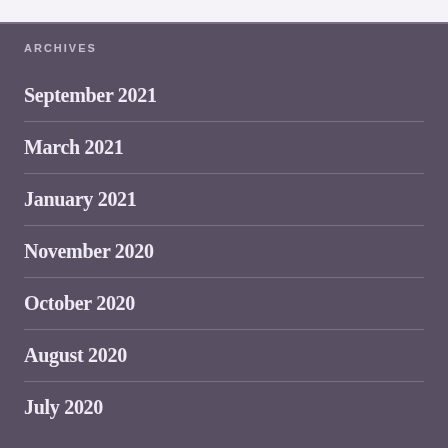ARCHIVES
September 2021
March 2021
January 2021
November 2020
October 2020
August 2020
July 2020